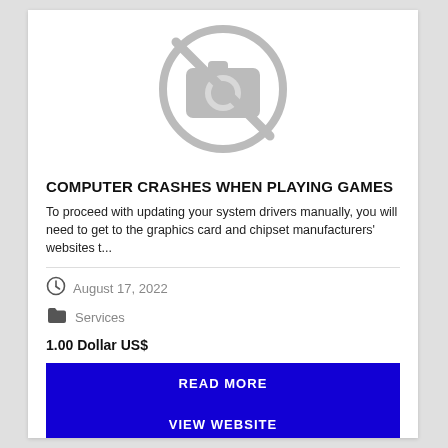[Figure (illustration): Placeholder image icon — a camera with a crossed-out circle in gray, indicating no image available]
COMPUTER CRASHES WHEN PLAYING GAMES
To proceed with updating your system drivers manually, you will need to get to the graphics card and chipset manufacturers' websites t...
August 17, 2022
Services
1.00 Dollar US$
READ MORE
VIEW WEBSITE